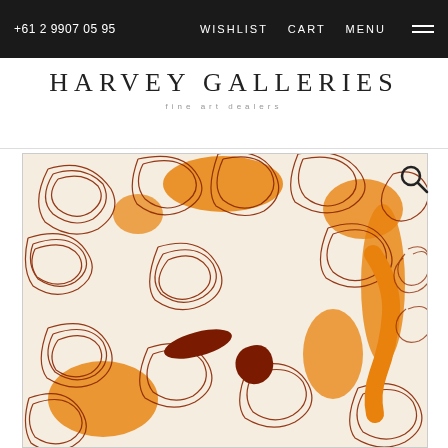+61 2 9907 0595   WISHLIST   CART   MENU
HARVEY GALLERIES
fine art dealers
[Figure (photo): Aboriginal Australian dot/swirl painting with orange, dark red/brown and white curvilinear patterns and two central motifs resembling animal or lizard shapes]